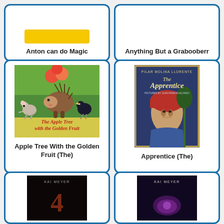[Figure (illustration): Book cover partially visible at top for 'Anton can do Magic']
Anton can do Magic
[Figure (illustration): Book cover partially visible at top for 'Anything But a Grabooberry']
Anything But a Grabooberr
[Figure (illustration): Book cover for 'The Apple Tree with the Golden Fruit' showing a hedgehog carrying apples, a mouse, and a bird on a green background]
Apple Tree With the Golden Fruit (The)
[Figure (illustration): Book cover for 'The Apprentice' by Pilar Molina Llorente, showing a young person in medieval clothing with a tree and blue background]
Apprentice (The)
[Figure (illustration): Partial book cover at bottom, dark background, KAI MEYER author name visible]
[Figure (illustration): Partial book cover at bottom, dark purple background, KAI MEYER author name visible]